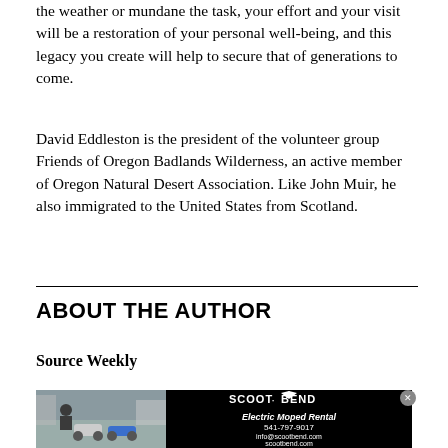the weather or mundane the task, your effort and your visit will be a restoration of your personal well-being, and this legacy you create will help to secure that of generations to come.
David Eddleston is the president of the volunteer group Friends of Oregon Badlands Wilderness, an active member of Oregon Natural Desert Association. Like John Muir, he also immigrated to the United States from Scotland.
ABOUT THE AUTHOR
Source Weekly
[Figure (photo): Advertisement for Scoot Bend Electric Moped Rental. Left side shows a photo of a person with electric mopeds. Right side has black background with Scoot Bend logo, 'Electric Moped Rental', phone number 541-797-9017, email info@scootbend.com, and website scootbend.com.]